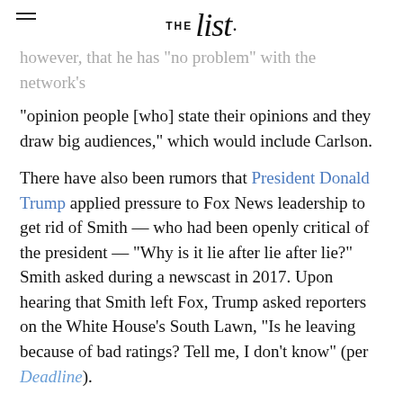THE list
however, that he has "no problem" with the network's "opinion people [who] state their opinions and they draw big audiences," which would include Carlson.
There have also been rumors that President Donald Trump applied pressure to Fox News leadership to get rid of Smith — who had been openly critical of the president — "Why is it lie after lie after lie?" Smith asked during a newscast in 2017. Upon hearing that Smith left Fox, Trump asked reporters on the White House's South Lawn, "Is he leaving because of bad ratings? Tell me, I don't know" (per Deadline).